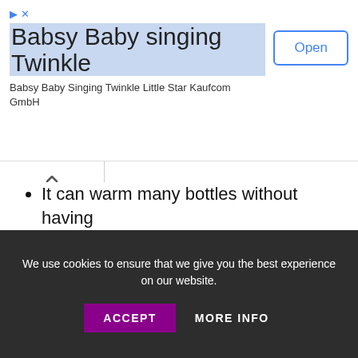[Figure (screenshot): Advertisement banner for 'Babsy Baby singing Twinkle' app by Kaufcom GmbH with an Open button and ad icons.]
It can warm many bottles without having to refill the reservoir
Quick and regular heating
It is built with a large reservoir that can
We use cookies to ensure that we give you the best experience on our website.
ACCEPT   MORE INFO